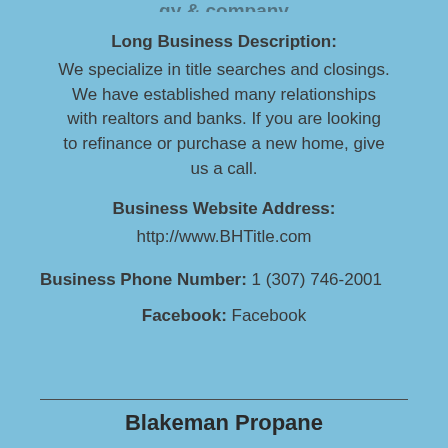Long Business Description:
We specialize in title searches and closings. We have established many relationships with realtors and banks. If you are looking to refinance or purchase a new home, give us a call.
Business Website Address:
http://www.BHTitle.com
Business Phone Number: 1 (307) 746-2001
Facebook: Facebook
Blakeman Propane